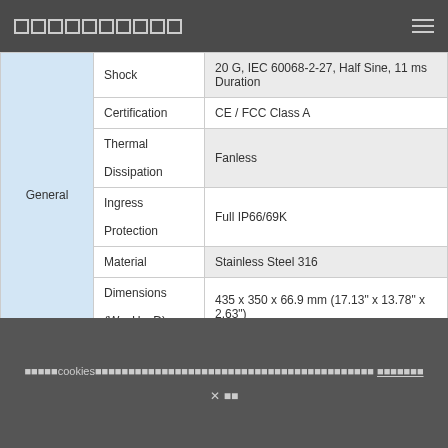■■■■■■■■■■
| Category | Label | Value |
| --- | --- | --- |
|  | Shock | 20 G, IEC 60068-2-27, Half Sine, 11 ms Duration |
|  | Certification | CE / FCC Class A |
|  | Thermal Dissipation | Fanless |
| General | Ingress Protection | Full IP66/69K |
|  | Material | Stainless Steel 316 |
|  | Dimensions (W x H x D) | 435 x 350 x 66.9 mm (17.13" x 13.78" x 2.63") |
■■■■■cookies■■■■■■■■■■■■■■■■■■■■■■■■■■■■■■■■■■■■ ■■■■■■■